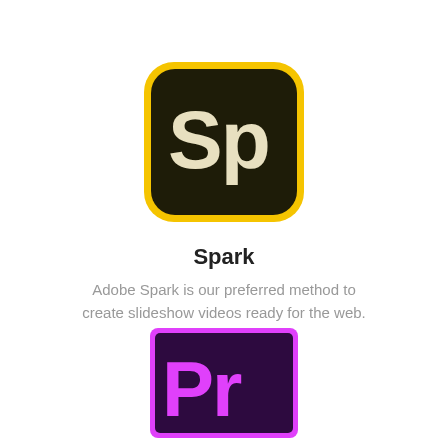[Figure (logo): Adobe Spark app icon — dark olive/brown rounded square with yellow border, showing 'Sp' in cream/white letters]
Spark
Adobe Spark is our preferred method to create slideshow videos ready for the web.
[Figure (logo): Adobe Premiere Pro app icon — dark purple/maroon square with magenta/pink border, showing 'Pr' in pink/purple letters]